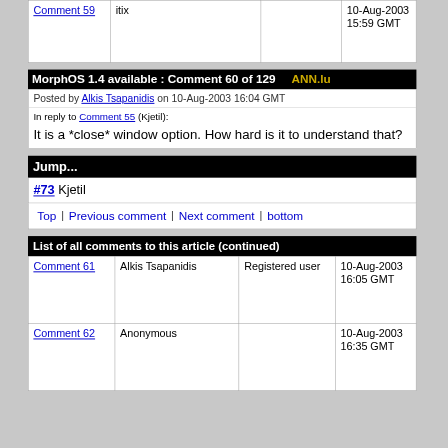|  |  |  |  |
| --- | --- | --- | --- |
| Comment 59 | itix |  | 10-Aug-2003 15:59 GMT |
MorphOS 1.4 available : Comment 60 of 129   ANN.lu
Posted by Alkis Tsapanidis on 10-Aug-2003 16:04 GMT
In reply to Comment 55 (Kjetil):
It is a *close* window option. How hard is it to understand that?
Jump...
#73 Kjetil
Top   Previous comment   Next comment   bottom
List of all comments to this article (continued)
|  |  |  |  |
| --- | --- | --- | --- |
| Comment 61 | Alkis Tsapanidis | Registered user | 10-Aug-2003 16:05 GMT |
| Comment 62 | Anonymous |  | 10-Aug-2003 16:35 GMT |